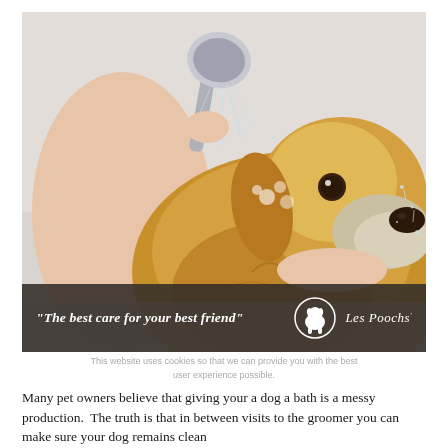[Figure (photo): A golden retriever dog being bathed with a handheld shower head. A person's hands are visible holding the shower head and the dog's chin. The dog is wet with soapy fur and water droplets. The background is a light gray/white bathing area.]
"The best care for your best friend"  Les Poochs
This website uses cookies so that we can provide you with the best user experience possible.
Many pet owners believe that giving your a dog a bath is a messy production.  The truth is that in between visits to the groomer you can make sure your dog remains clean